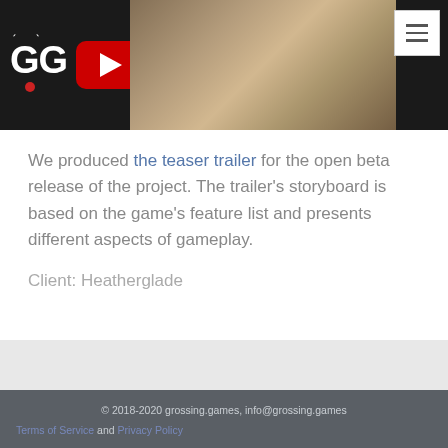[Figure (screenshot): Website header with dark background showing GG logo on left, YouTube play button icon, a game screenshot with colorful characters on the right, and a hamburger menu button in the top-right corner]
We produced the teaser trailer for the open beta release of the project. The trailer's storyboard is based on the game's feature list and presents different aspects of gameplay.
Client: Heatherglade
© 2018-2020 grossing.games, info@grossing.games
Terms of Service and Privacy Policy